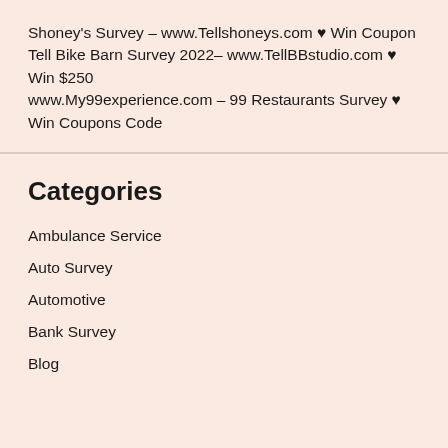Shoney's Survey – www.Tellshoneys.com ♥ Win Coupon
Tell Bike Barn Survey 2022– www.TellBBstudio.com ♥ Win $250
www.My99experience.com – 99 Restaurants Survey ♥ Win Coupons Code
Categories
Ambulance Service
Auto Survey
Automotive
Bank Survey
Blog